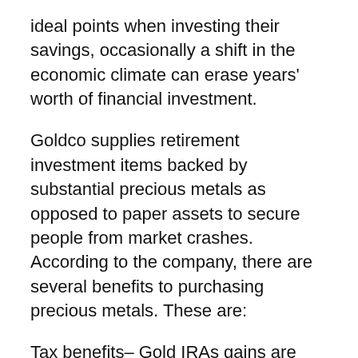ideal points when investing their savings, occasionally a shift in the economic climate can erase years' worth of financial investment.
Goldco supplies retirement investment items backed by substantial precious metals as opposed to paper assets to secure people from market crashes. According to the company, there are several benefits to purchasing precious metals. These are:
Tax benefits– Gold IRAs gains are tax-free. Easy rollover– investors can rollover/transfer existing retirements funds into Gold IRAs. Stability– there is less threat involved in rare-earth elements given that the worth appreciates minimally each time.